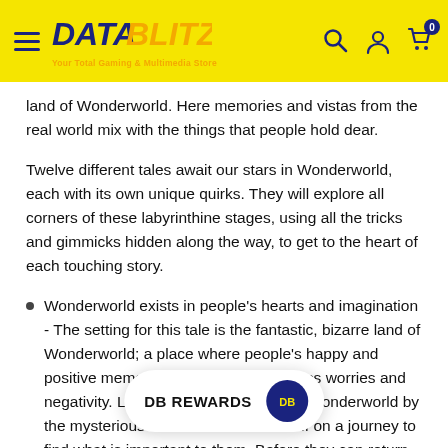DATA BLITZ - Your Total Gaming & Multimedia Store
land of Wonderworld. Here memories and vistas from the real world mix with the things that people hold dear.
Twelve different tales await our stars in Wonderworld, each with its own unique quirks. They will explore all corners of these labyrinthine stages, using all the tricks and gimmicks hidden along the way, to get to the heart of each touching story.
Wonderworld exists in people's hearts and imagination - The setting for this tale is the fantastic, bizarre land of Wonderworld; a place where people's happy and positive memories mix with their restless worries and negativity. Leo and Emma are led into Wonderworld by the mysterious clown Balan and set off on a journey to find what is important to them. Before they can return to the real world, they must first r... hearts